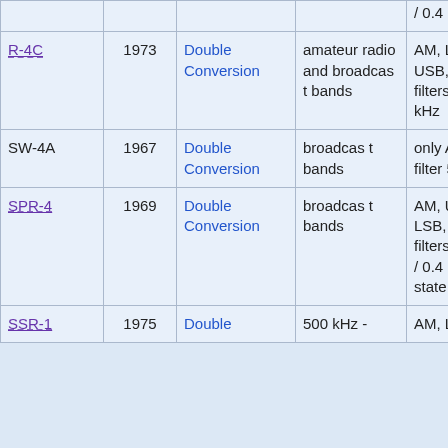| Model | Year | Type | Coverage | Notes |
| --- | --- | --- | --- | --- |
| R-4C | 1973 | Double Conversion | amateur radio and broadcast bands | AM, LSB, USB, CW; IF filters 8 / 2.4 kHz |
| SW-4A | 1967 | Double Conversion | broadcast bands | only AM; IF filter 5 kHz |
| SPR-4 | 1969 | Double Conversion | broadcast bands | AM, USB, LSB, CW; IF filters 4.8 / 2.4 / 0.4 kHz; solid state |
| SSR-1 | 1975 | Double | 500 kHz - | AM, LSB, |